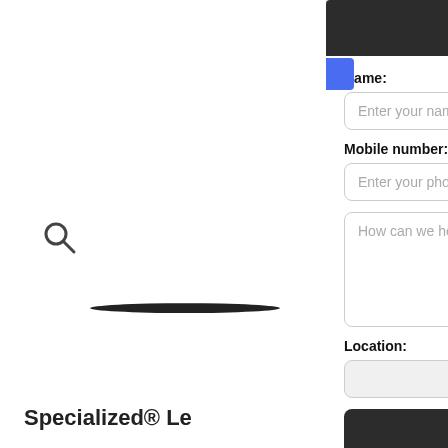[Figure (screenshot): Background webpage showing a bicycle product page with search icon, partial bike image, product title 'Specialized® Le', price 'PRICE: $7,500', item number '95222-5205', condition 'New', color 'Flo Red / Bla', and a hamburger menu icon on the right.]
Text us!
Name:
Enter your name here
Mobile number:
Enter your phone here
How can we help you?
Location:
Send Text
Powered by  Ikeono